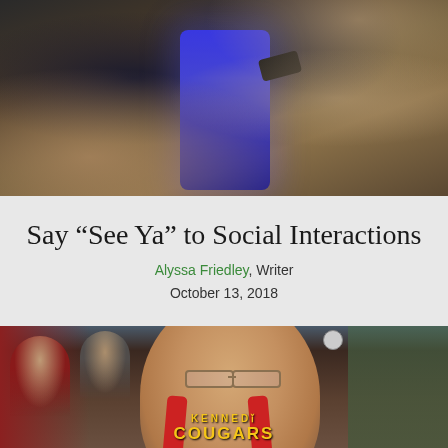[Figure (photo): Close-up photo of hands holding a smartphone with a glowing screen, dark background with a keyboard visible]
Say “See Ya” to Social Interactions
Alyssa Friedley, Writer
October 13, 2018
[Figure (photo): Student wearing glasses and a Kennedy Cougars t-shirt with a backpack, looking downward, in a school cafeteria setting]